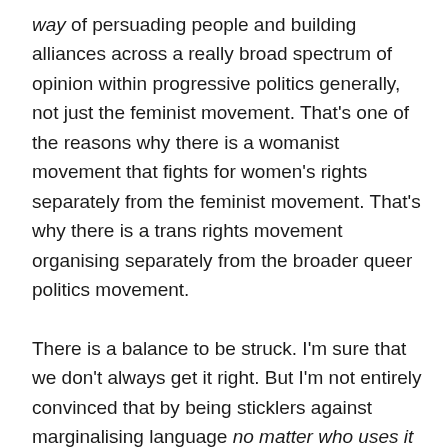way of persuading people and building alliances across a really broad spectrum of opinion within progressive politics generally, not just the feminist movement. That's one of the reasons why there is a womanist movement that fights for women's rights separately from the feminist movement. That's why there is a trans rights movement organising separately from the broader queer politics movement. There is a balance to be struck. I'm sure that we don't always get it right. But I'm not entirely convinced that by being sticklers against marginalising language no matter who uses it that we are being entirely wrong, either. When someone finds being challenged on the usage of marginalising language to be a culture shock, I